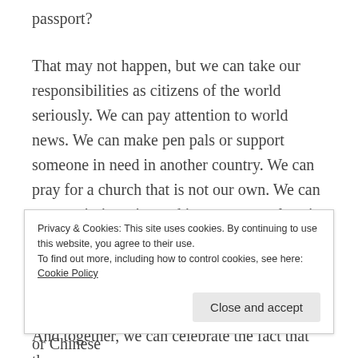passport?
That may not happen, but we can take our responsibilities as citizens of the world seriously.  We can pay attention to world news.  We can make pen pals or support someone in need in another country.  We can pray for a church that is not our own.  We can go on mission trips and immerse ourselves in another culture.  We can send money for relief aid not only for Houston, but also for Havana.
And together, we can celebrate the fact that the
Privacy & Cookies: This site uses cookies. By continuing to use this website, you agree to their use.
To find out more, including how to control cookies, see here: Cookie Policy
Close and accept
limitations.  Whether American, Cuban, Iraqi or Chinese